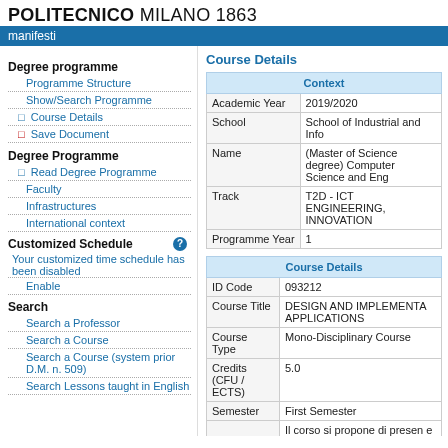POLITECNICO MILANO 1863
manifesti
Degree programme
Programme Structure
Show/Search Programme
❑ Course Details
❑ Save Document
Degree Programme
❑ Read Degree Programme
Faculty
Infrastructures
International context
Customized Schedule
Your customized time schedule has been disabled
Enable
Search
Search a Professor
Search a Course
Search a Course (system prior D.M. n. 509)
Search Lessons taught in English
Course Details
| Context |
| --- |
| Academic Year | 2019/2020 |
| School | School of Industrial and Info |
| Name | (Master of Science degree) Computer Science and Eng |
| Track | T2D - ICT ENGINEERING, INNOVATION |
| Programme Year | 1 |
| Course Details |
| --- |
| ID Code | 093212 |
| Course Title | DESIGN AND IMPLEMENTA APPLICATIONS |
| Course Type | Mono-Disciplinary Course |
| Credits (CFU / ECTS) | 5.0 |
| Semester | First Semester |
|  | Il corso si propone di presen e tecnologie per la progetta |